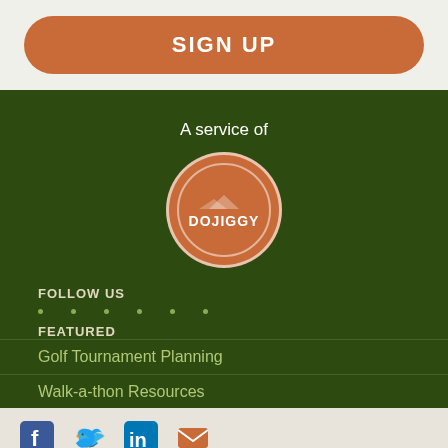SIGN UP
A service of
[Figure (logo): DoJiggy circular logo - brown circle with mountain silhouette and DOJIGGY text in white]
FOLLOW US
Social media icons row (dots)
FEATURED
Golf Tournament Planning
Walk-a-thon Resources
School Fundraising
[Figure (infographic): Bottom bar with Facebook, Twitter, LinkedIn, and email social icons in blue and orange]